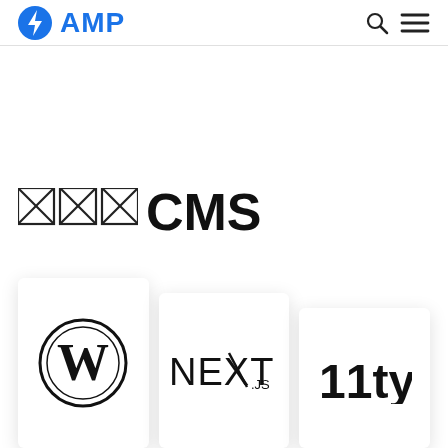AMP
CMS
[Figure (logo): WordPress logo - black circular W icon]
[Figure (logo): Next.js logo - NEXT.JS text logo]
[Figure (logo): 11ty logo - 11ty text logo in bold]